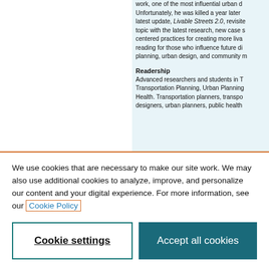work, one of the most influential urban d... Unfortunately, he was killed a year later ... latest update, Livable Streets 2.0, revisite... topic with the latest research, new case s... centered practices for creating more liva... reading for those who influence future di... planning, urban design, and community ...
Readership
Advanced researchers and students in T... Transportation Planning, Urban Planning... Health. Transportation planners, transpo... designers, urban planners, public health...
We use cookies that are necessary to make our site work. We may also use additional cookies to analyze, improve, and personalize our content and your digital experience. For more information, see our Cookie Policy
Cookie settings
Accept all cookies